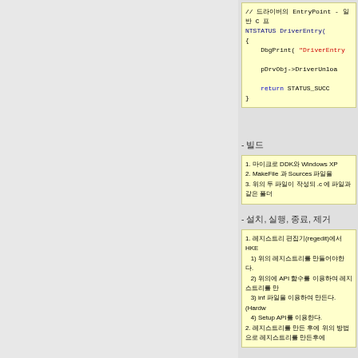[Figure (screenshot): Code snippet showing NTSTATUS DriverEntry function in C with syntax highlighting: comment in green, string in red, keywords in blue/dark blue]
- 빌드
1. 마이크로 DDK와 Windows XP
2. MakeFile 과 Sources 파일을
3. 위의 두 파일이 작성되 .c 에 파일과 같은 폴더
- 설치, 실행, 종료, 제거
1. 레지스트리 편집기(regedit)에서 HKE
   1) 위의 레지스트리를 만들어야한다.
   2) 위의에 API 함수를 이용하여 레지스트리를 만
   3) inf 파일을 이용하여 만든다.(Hardw
   4) Setup API를 이용한다.
2. 레지스트리를 만든 후에 위의 방법으로 레지스트리를 만든후에